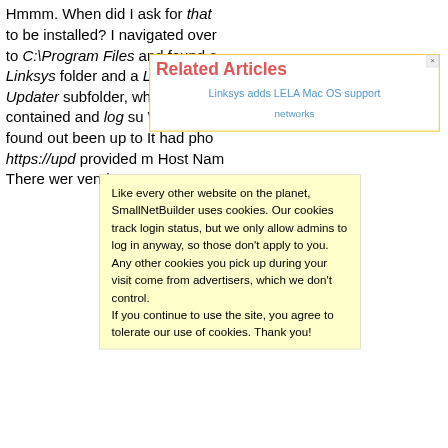Hmmm. When did I ask for that to be installed? I navigated over to C:\Program Files and found a Linksys folder and a Linksys Updater subfolder, which contained and log su When I op found out been up to It had pho https://upd provided m Host Nam There wer vendor, na
[Figure (other): Related Articles sidebar box with coral/red title 'Related Articles', a close button (×), and a blue link 'Linksys adds LELA Mac OS support']
[Figure (other): Cookie consent popup with yellow background stating: 'Like every other website on the planet, SmallNetBuilder uses cookies. Our cookies track login status, but we only allow admins to log in anyway, so those don't apply to you. Any other cookies you pick up during your visit come from advertisers, which we don't control. If you continue to use the site, you agree to tolerate our use of cookies. Thank you!']